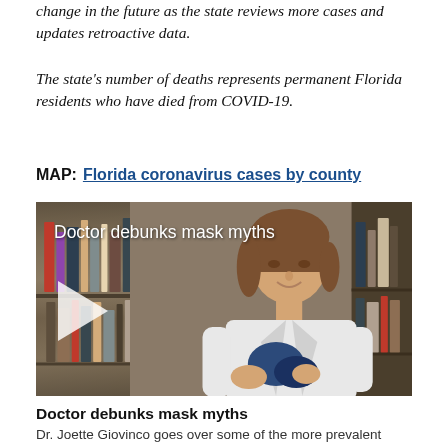change in the future as the state reviews more cases and updates retroactive data.
The state's number of deaths represents permanent Florida residents who have died from COVID-19.
MAP: Florida coronavirus cases by county
[Figure (photo): Video thumbnail showing a doctor in a white coat holding a navy blue mask, with bookshelves in the background. Video title overlay reads 'Doctor debunks mask myths' with a play button.]
Doctor debunks mask myths
Dr. Joette Giovinco goes over some of the more prevalent myths about masks